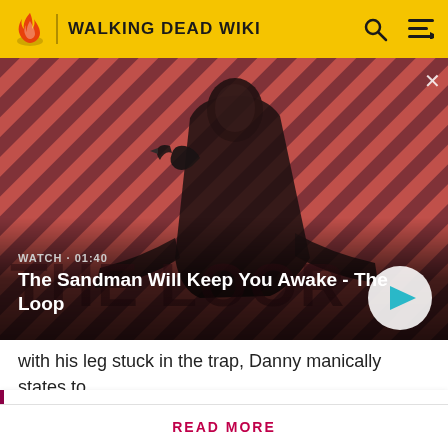WALKING DEAD WIKI
[Figure (screenshot): Video thumbnail showing a man in dark clothes with a raven on his shoulder against a red and dark diagonal striped background. Overlay text reads WATCH · 01:40 and The Sandman Will Keep You Awake - The Loop with a play button circle.]
with his leg stuck in the trap, Danny manically states to Lee that cannibalism is the only way to survive in the
Attention! Please be aware that spoilers are not allowed on the wiki and a violation of this policy may result in a ban.
READ MORE